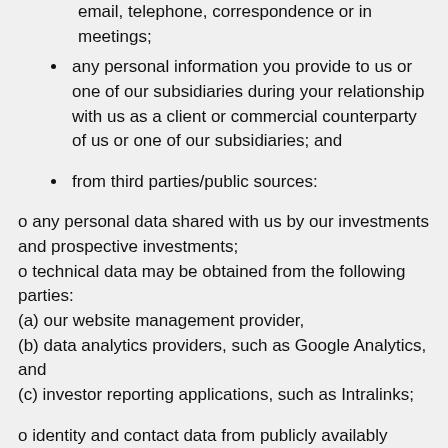during the communications between us, such as via email, telephone, correspondence or in meetings;
any personal information you provide to us or one of our subsidiaries during your relationship with us as a client or commercial counterparty of us or one of our subsidiaries; and
from third parties/public sources:
o any personal data shared with us by our investments and prospective investments;
o technical data may be obtained from the following parties:
(a) our website management provider,
(b) data analytics providers, such as Google Analytics, and
(c) investor reporting applications, such as Intralinks;
o identity and contact data from publicly availably sources such as internet searches,